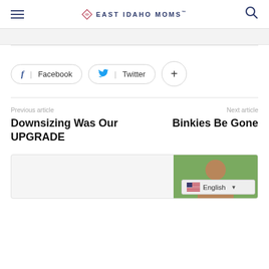East Idaho Moms
Facebook  Twitter  +
Previous article
Downsizing Was Our UPGRADE
Next article
Binkies Be Gone
[Figure (photo): Partial view of a bottom card with a woman's photo and English language selector]